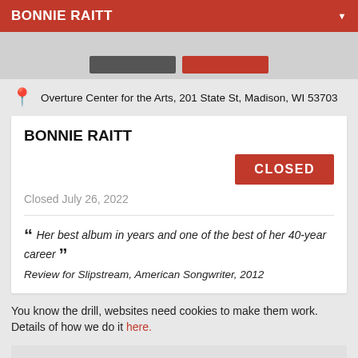BONNIE RAITT
[Figure (screenshot): Partial UI strip showing two buttons (gray and red) on a light gray background]
Overture Center for the Arts, 201 State St, Madison, WI 53703
BONNIE RAITT
CLOSED
Closed July 26, 2022
Her best album in years and one of the best of her 40-year career
Review for Slipstream, American Songwriter, 2012
You know the drill, websites need cookies to make them work. Details of how we do it here.
Got it!